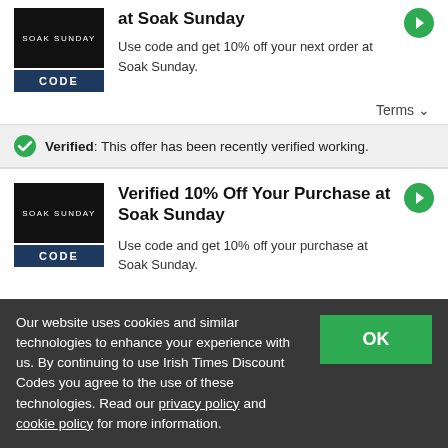at Soak Sunday
Use code and get 10% off your next order at Soak Sunday.
Terms
Verified: This offer has been recently verified working.
Verified 10% Off Your Purchase at Soak Sunday
Use code and get 10% off your purchase at Soak Sunday.
Our website uses cookies and similar technologies to enhance your experience with us. By continuing to use Irish Times Discount Codes you agree to the use of these technologies. Read our privacy policy and cookie policy for more information.